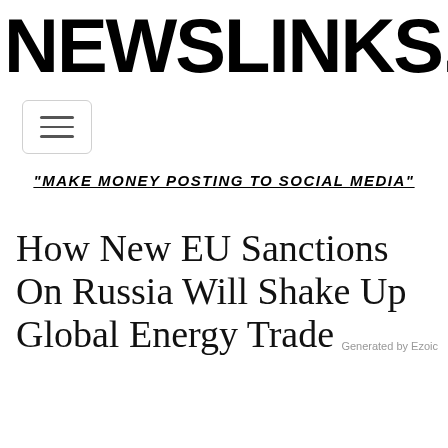NEWSLINKS.NET
[Figure (other): Hamburger menu button with three horizontal lines inside a rounded rectangle border]
"MAKE MONEY POSTING TO SOCIAL MEDIA"
How New EU Sanctions On Russia Will Shake Up Global Energy Trade
Generated by Ezoic